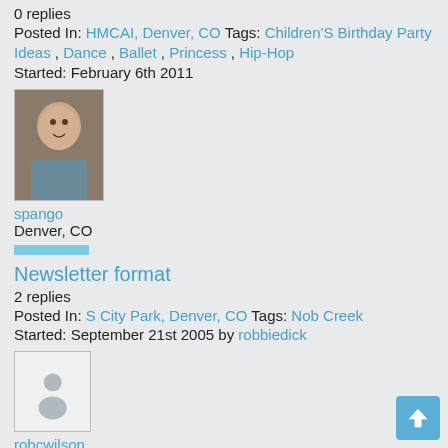0 replies
Posted In: HMCAI, Denver, CO Tags: Children'S Birthday Party Ideas , Dance , Ballet , Princess , Hip-Hop
Started: February 6th 2011
[Figure (photo): Profile photo of user spango - a young man smiling]
spango
Denver, CO
Newsletter format
2 replies
Posted In: S City Park, Denver, CO Tags: Nob Creek
Started: September 21st 2005 by robbiedick
[Figure (photo): Default avatar placeholder for user robcwilson]
robcwilson
USA
What should EMNA's priorities be
7 replies